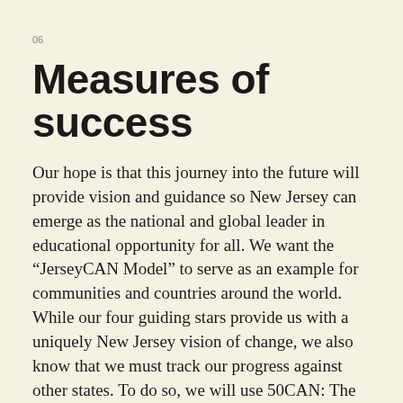06
Measures of success
Our hope is that this journey into the future will provide vision and guidance so New Jersey can emerge as the national and global leader in educational opportunity for all. We want the “JerseyCAN Model” to serve as an example for communities and countries around the world. While our four guiding stars provide us with a uniquely New Jersey vision of change, we also know that we must track our progress against other states. To do so, we will use 50CAN: The 50-State Campaign for Achievement Now’s four dimensions of a healthy and dynamic learning system: